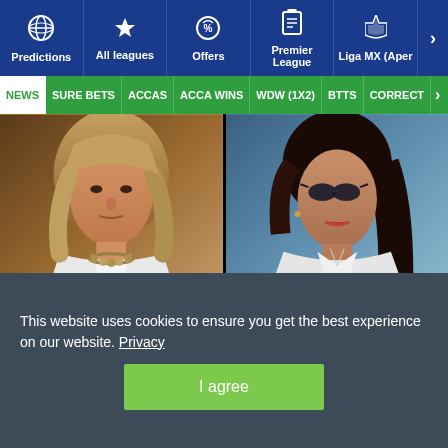Predictions | All leagues | Offers | Premier League | Liga MX (Aper
NEWS | SURE BETS | ACCAS | ACCA WINS | WDW (1X2) | BTTS | CORRECT
[Figure (photo): Two women in white blazers with serious expressions, side by side]
Do you trust Biden and the Democrats to handle our record high inflation?
This website uses cookies to ensure you get the best experience on our website. Privacy
I agree